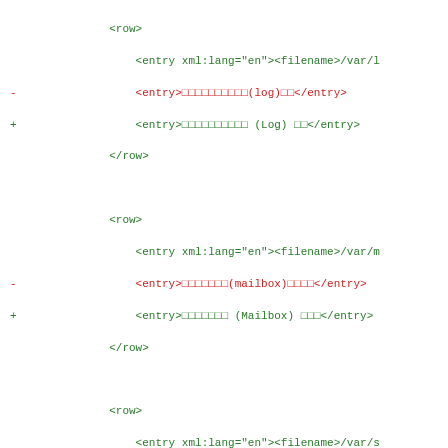Diff/code view showing XML row entries with diff markers (-, +) and a @@ hunk header